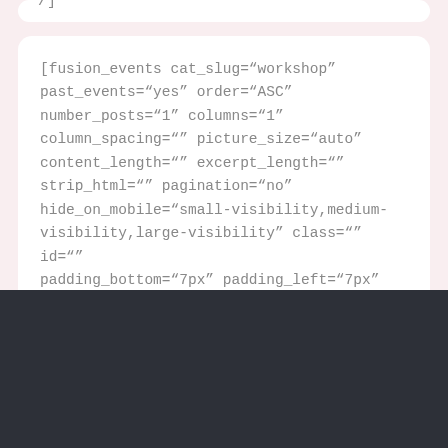/]
[fusion_events cat_slug="workshop" past_events="yes" order="ASC" number_posts="1" columns="1" column_spacing="" picture_size="auto" content_length="" excerpt_length="" strip_html="" pagination="no" hide_on_mobile="small-visibility,medium-visibility,large-visibility" class="" id="" padding_bottom="7px" padding_left="7px" /]